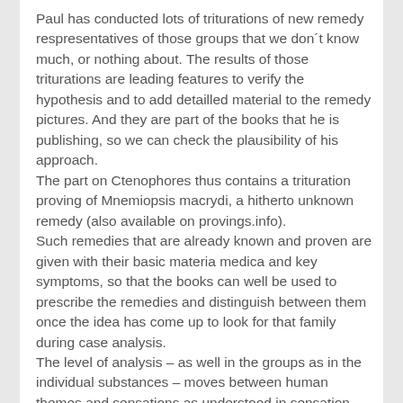Paul has conducted lots of triturations of new remedy respresentatives of those groups that we don´t know much, or nothing about. The results of those triturations are leading features to verify the hypothesis and to add detailled material to the remedy pictures. And they are part of the books that he is publishing, so we can check the plausibility of his approach. The part on Ctenophores thus contains a trituration proving of Mnemiopsis macrydi, a hitherto unknown remedy (also available on provings.info). Such remedies that are already known and proven are given with their basic materia medica and key symptoms, so that the books can well be used to prescribe the remedies and distinguish between them once the idea has come up to look for that family during case analysis. The level of analysis – as well in the groups as in the individual substances – moves between human themes and sensations as understood in sensation method. Given a main structure that looks at the evolving human consciousness seperating itself from the universal mind, finding its own existance and borders, gaining self controll